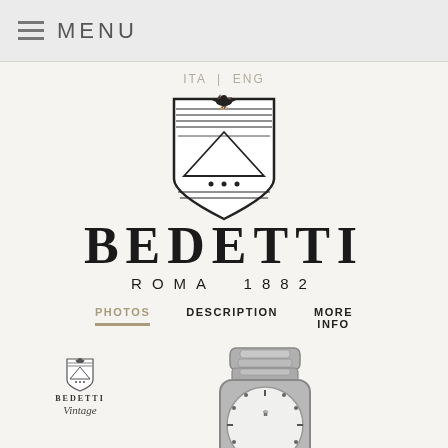MENU
ITA | ENG
[Figure (logo): Bedetti Roma 1882 heraldic shield crest logo with eagle at top and horizontal lines]
BEDETTI
ROMA 1882
PHOTOS   DESCRIPTION   MORE INFO
[Figure (photo): Bedetti Vintage logo with small crest icon, brand name BEDETTI and italic Vintage text, alongside a silver/titanium Rolex-style wristwatch with white dial and oyster bracelet]